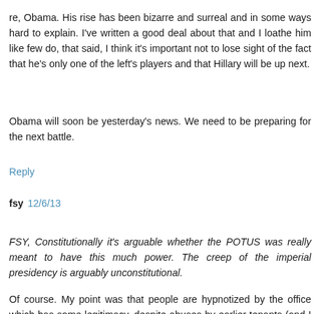re, Obama. His rise has been bizarre and surreal and in some ways hard to explain. I've written a good deal about that and I loathe him like few do, that said, I think it's important not to lose sight of the fact that he's only one of the left's players and that Hillary will be up next.
Obama will soon be yesterday's news. We need to be preparing for the next battle.
Reply
fsy  12/6/13
FSY, Constitutionally it's arguable whether the POTUS was really meant to have this much power. The creep of the imperial presidency is arguably unconstitutional.
Of course. My point was that people are hypnotized by the office which has some legitimacy, despite abuses by earlier tenants (and I greatly doubt that Nixon was the worst), and so they are reluctant to question Obama's authority.